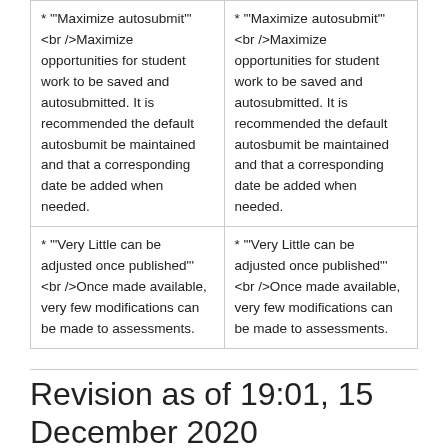| * '"Maximize autosubmit"' <br />Maximize opportunities for student work to be saved and autosubmitted. It is recommended the default autosbumit be maintained and that a corresponding date be added when needed. | * '"Maximize autosubmit"' <br />Maximize opportunities for student work to be saved and autosubmitted. It is recommended the default autosbumit be maintained and that a corresponding date be added when needed. |
| * '"Very Little can be adjusted once published"' <br />Once made available, very few modifications can be made to assessments. | * '"Very Little can be adjusted once published"' <br />Once made available, very few modifications can be made to assessments. |
Revision as of 19:01, 15 December 2020